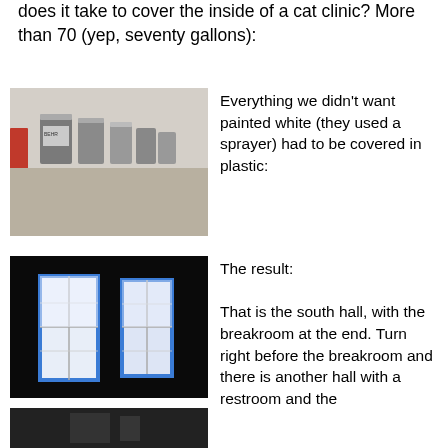does it take to cover the inside of a cat clinic? More than 70 (yep, seventy gallons):
[Figure (photo): Multiple gallon paint cans stacked on a floor in what appears to be a room being prepared for painting]
Everything we didn't want painted white (they used a sprayer) had to be covered in plastic:
[Figure (photo): Dark hallway with two bright white windows covered in blue painter's tape, showing the south hall of the cat clinic]
The result:
That is the south hall, with the breakroom at the end. Turn right before the breakroom and there is another hall with a restroom and the
[Figure (photo): Partial view of another room or hallway, cut off at the bottom of the page]